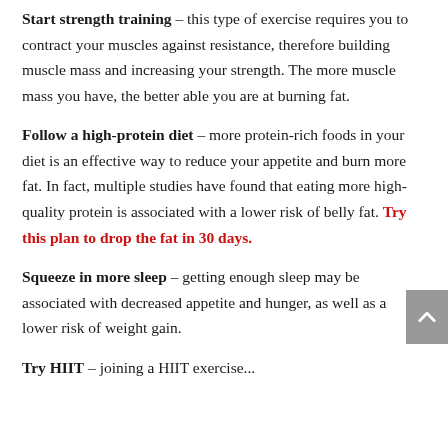Start strength training – this type of exercise requires you to contract your muscles against resistance, therefore building muscle mass and increasing your strength. The more muscle mass you have, the better able you are at burning fat.
Follow a high-protein diet – more protein-rich foods in your diet is an effective way to reduce your appetite and burn more fat. In fact, multiple studies have found that eating more high-quality protein is associated with a lower risk of belly fat. Try this plan to drop the fat in 30 days.
Squeeze in more sleep – getting enough sleep may be associated with decreased appetite and hunger, as well as a lower risk of weight gain.
Try HIIT – joining a HIIT exercise...